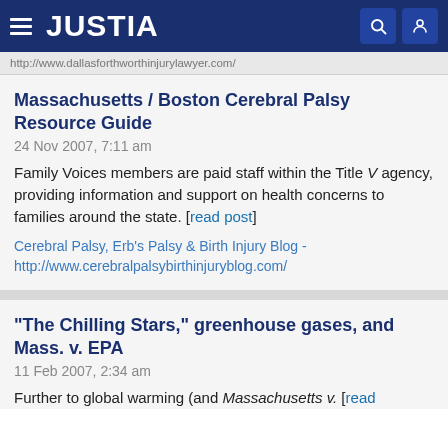JUSTIA
http://www.dallasforthworthinjurylawyer.com/
Massachusetts / Boston Cerebral Palsy Resource Guide
24 Nov 2007, 7:11 am
Family Voices members are paid staff within the Title V agency, providing information and support on health concerns to families around the state. [read post]
Cerebral Palsy, Erb's Palsy & Birth Injury Blog - http://www.cerebralpalsybirthinjuryblog.com/
"The Chilling Stars," greenhouse gases, and Mass. v. EPA
11 Feb 2007, 2:34 am
Further to global warming (and Massachusetts v. [read